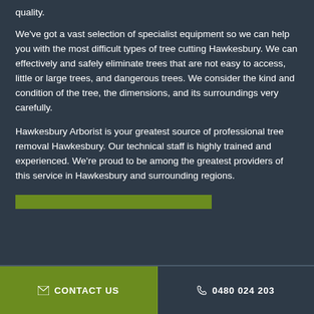quality.
We've got a vast selection of specialist equipment so we can help you with the most difficult types of tree cutting Hawkesbury. We can effectively and safely eliminate trees that are not easy to access, little or large trees, and dangerous trees. We consider the kind and condition of the tree, the dimensions, and its surroundings very carefully.
Hawkesbury Arborist is your greatest source of professional tree removal Hawkesbury. Our technical staff is highly trained and experienced. We're proud to be among the greatest providers of this service in Hawkesbury and surrounding regions.
✉ CONTACT US   📞 0480 024 203